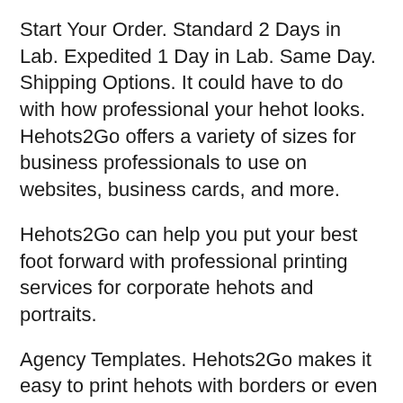Start Your Order. Standard 2 Days in Lab. Expedited 1 Day in Lab. Same Day. Shipping Options. It could have to do with how professional your hehot looks. Hehots2Go offers a variety of sizes for business professionals to use on websites, business cards, and more.
Hehots2Go can help you put your best foot forward with professional printing services for corporate hehots and portraits.
Agency Templates. Hehots2Go makes it easy to print hehots with borders or even full bleed prints. Lustre is our most popular finish for hehots. Hehots2Go can produce professional, high-quality photo prints in multiple sizes and styles.
Our quality-checked color photo printing services are also ideal for editorial-style hehots.
Then Harveysburg call girls it